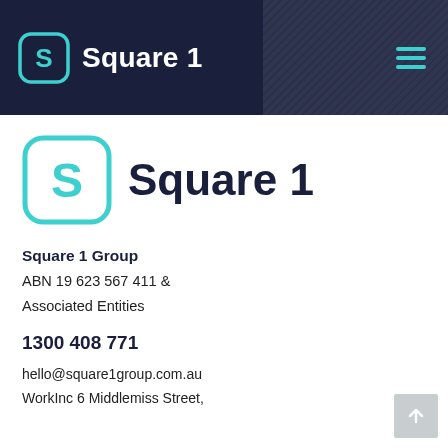Square 1
[Figure (logo): Square 1 company logo — large teal rounded-square icon with stylized S, beside bold dark navy text 'Square 1']
Square 1 Group
ABN 19 623 567 411 &
Associated Entities
1300 408 771
hello@square1group.com.au
WorkInc 6 Middlemiss Street,